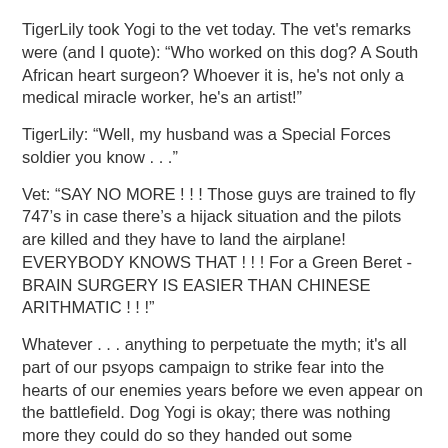TigerLily took Yogi to the vet today. The vet's remarks were (and I quote): “Who worked on this dog? A South African heart surgeon? Whoever it is, he's not only a medical miracle worker, he's an artist!”
TigerLily: “Well, my husband was a Special Forces soldier you know . . .”
Vet: “SAY NO MORE ! ! ! Those guys are trained to fly 747’s in case there’s a hijack situation and the pilots are killed and they have to land the airplane! EVERYBODY KNOWS THAT ! ! ! For a Green Beret - BRAIN SURGERY IS EASIER THAN CHINESE ARITHMATIC ! ! !”
Whatever . . . anything to perpetuate the myth; it's all part of our psyops campaign to strike fear into the hearts of our enemies years before we even appear on the battlefield. Dog Yogi is okay; there was nothing more they could do so they handed out some painkillers and some antibiotic oinkment and sent TigerLily & dog on their way . . .